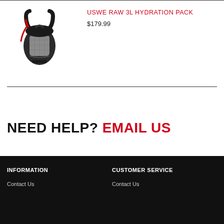[Figure (photo): USWE RAW 3L Hydration Pack - black and grey backpack with red accents]
USWE RAW 3L HYDRATION PACK
$179.99
NEED HELP? EMAIL US
INFORMATION
CUSTOMER SERVICE
Contact Us
Contact Us